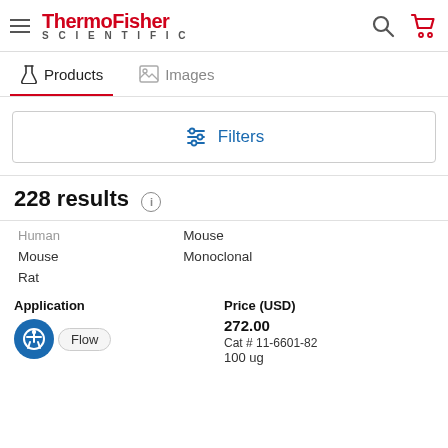[Figure (logo): ThermoFisher Scientific logo with hamburger menu, search icon, and cart icon in header]
Products   Images
Filters
228 results
| Human | Mouse |
| Mouse | Monoclonal |
| Rat |  |
Application
Price (USD)
Flow
272.00
Cat # 11-6601-82
100 ug